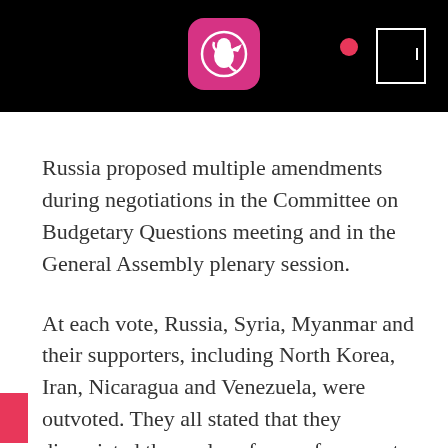[Figure (other): Black top bar with a pink/magenta app icon (kangaroo logo in rounded square), a pink dot, and a white rectangle outline with a vertical line — resembling a mobile screen recording interface overlay.]
Russia proposed multiple amendments during negotiations in the Committee on Budgetary Questions meeting and in the General Assembly plenary session.
At each vote, Russia, Syria, Myanmar and their supporters, including North Korea, Iran, Nicaragua and Venezuela, were outvoted. They all stated that they dissociated themselves from references to investigative mechanisms in the adopted resolutions.